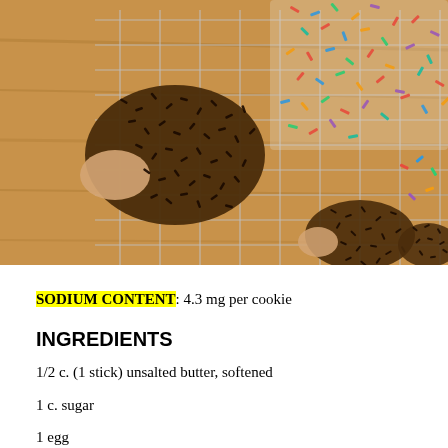[Figure (photo): Overhead photo of hedgehog-shaped cookies covered in chocolate sprinkles and rainbow sprinkles, arranged on a wire cooling rack over a wooden surface]
SODIUM CONTENT: 4.3 mg per cookie
INGREDIENTS
1/2 c. (1 stick) unsalted butter, softened
1 c. sugar
1 egg
2 t. pure vanilla extract